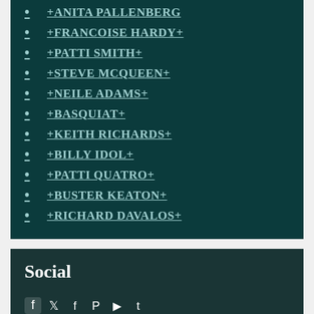+ANITA PALLENBERG
+FRANCOISE HARDY+
+PATTI SMITH+
+STEVE MCQUEEN+
+NEILE ADAMS+
+BASQUIAT+
+KEITH RICHARDS+
+BILLY IDOL+
+PATTI QUATRO+
+BUSTER KEATON+
+RICHARD DAVALOS+
Social
[Figure (illustration): Social media icons: Facebook, Twitter/X, Facebook, Pinterest, YouTube, Tumblr]